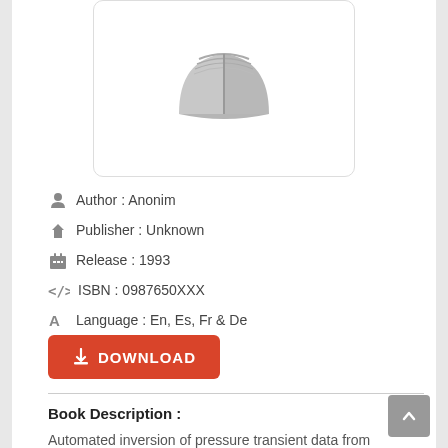[Figure (illustration): Book cover placeholder with a gray open-book icon on a white rounded rectangle card]
Author : Anonim
Publisher : Unknown
Release : 1993
ISBN : 0987650XXX
Language : En, Es, Fr & De
DOWNLOAD
Book Description :
Automated inversion of pressure transient data from